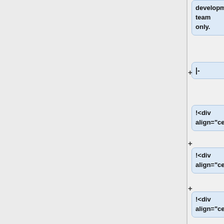development team only.
|-
!<div align="center">14</div>
!<div align="center">x</div>
!<div align="center">y</div>
!<div align="center">z</div>
|This error is triggered when "MICRO CAN